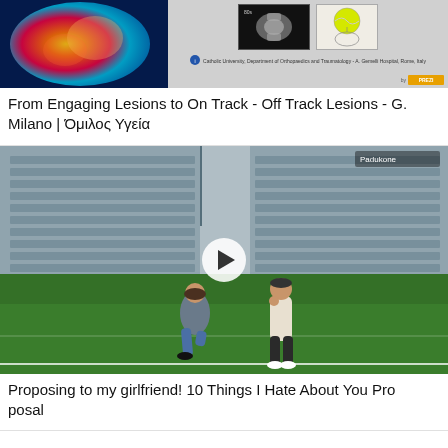[Figure (screenshot): Medical/orthopaedic presentation thumbnail showing a colorful shoulder MRI on the left and X-ray/anatomy images on the right with institution caption and branding logo]
From Engaging Lesions to On Track - Off Track Lesions - G. Milano | Όμιλος Υγεία
[Figure (screenshot): Video thumbnail of a proposal scene on a sports field/stadium: a woman kneeling proposing to a man, with a play button overlay]
Proposing to my girlfriend! 10 Things I Hate About You Proposal